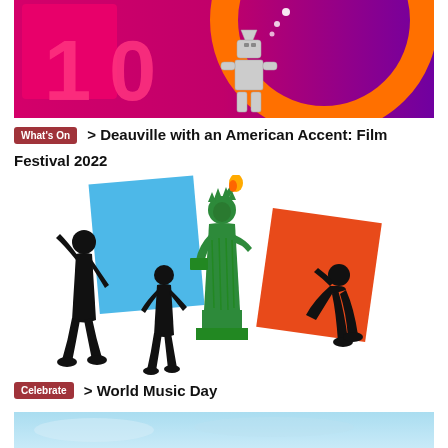[Figure (illustration): Top banner with magenta/pink and purple gradient background, large orange circle and pink rectangle geometric shapes, plus a small robot/tin man figure. Large '10' text visible.]
What's On > Deauville with an American Accent: Film Festival 2022
[Figure (illustration): Illustration of the Statue of Liberty in green holding a torch, flanked by black silhouette figures of people, with a large blue rectangle on the left and orange-red rectangle on the right forming a French tricolor flag motif. White background.]
Celebrate > World Music Day
[Figure (photo): Bottom strip showing a pale blue sky or water scene, partially visible.]